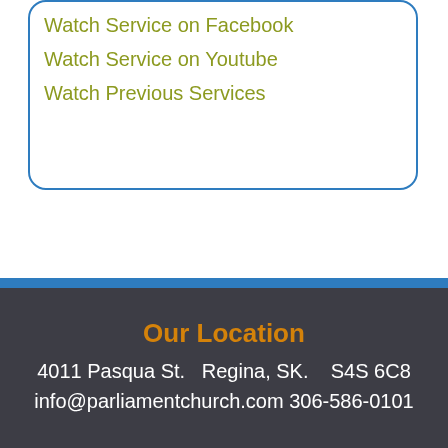Watch Service on Facebook
Watch Service on Youtube
Watch Previous Services
Our Location
4011 Pasqua St.   Regina, SK.    S4S 6C8
info@parliamentchurch.com 306-586-0101